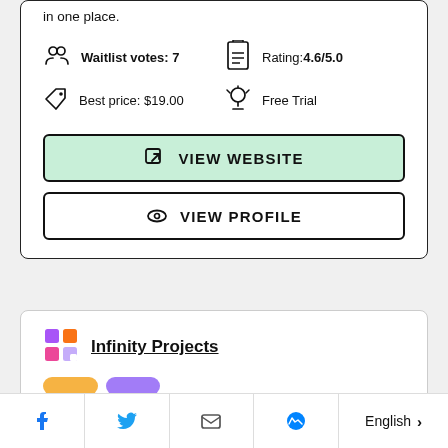in one place.
Waitlist votes: 7
Rating: 4.6/5.0
Best price: $19.00
Free Trial
VIEW WEBSITE
VIEW PROFILE
Infinity Projects
English